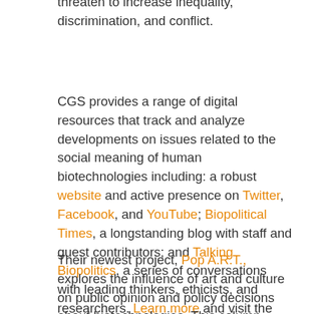threaten to increase inequality, discrimination, and conflict.
CGS provides a range of digital resources that track and analyze developments on issues related to the social meaning of human biotechnologies including: a robust website and active presence on Twitter, Facebook, and YouTube; Biopolitical Times, a longstanding blog with staff and guest contributors; and Talking Biopolitics, a series of conversations with leading thinkers, ethicists, and researchers. Learn more and visit the CGS website for a full overview of resources.
Their newest project, Pop A.R.T., explores the influence of art and culture on public opinion and policy decisions about biotechnologies. This column includes, among others, a look at the blurred lines